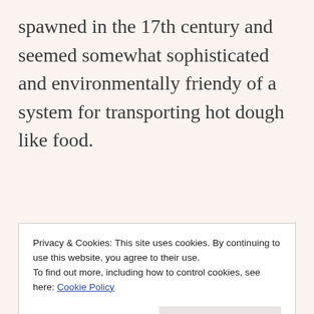spawned in the 17th century and seemed somewhat sophisticated and environmentally friendy of a system for transporting hot dough like food.
“In the early 1800’s, bakers were
Privacy & Cookies: This site uses cookies. By continuing to use this website, you agree to their use.
To find out more, including how to control cookies, see here: Cookie Policy
their sons to cart these stufas